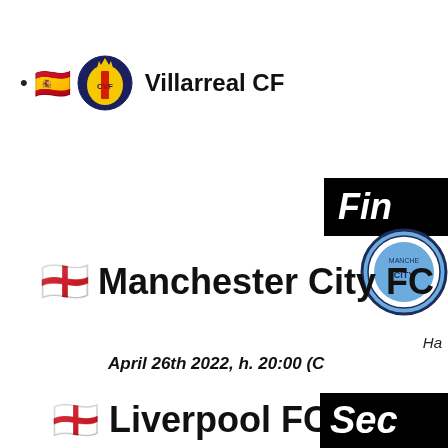🇪🇸 Villarreal CF
Fin
🏴󠁧󠁢󠁥󠁮󠁧󠁿 Manchester City FC
April 26th 2022, h. 20:00 (C...
🏴󠁧󠁢󠁥󠁮󠁧󠁿 Liverpool FC
April 27th 2022, h. 20...
Sec